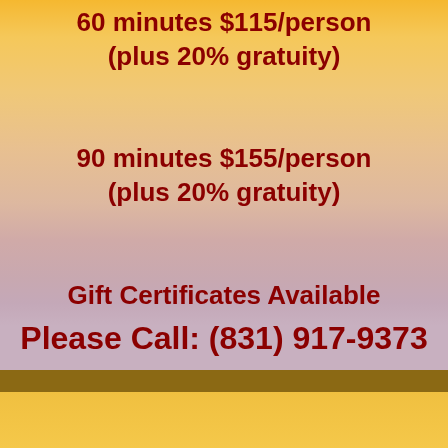60 minutes $115/person (plus 20% gratuity)
90 minutes $155/person (plus 20% gratuity)
Gift Certificates Available
Please Call: (831) 917-9373